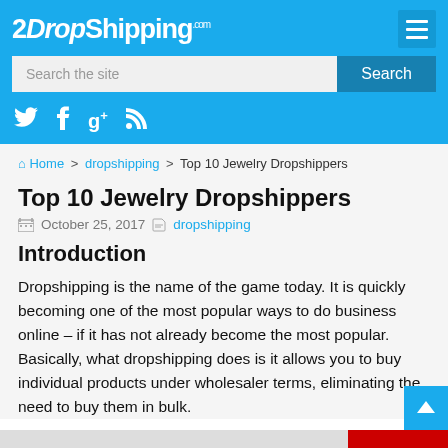2DropShipping.com
Search the site
Home > dropshipping > Top 10 Jewelry Dropshippers
Top 10 Jewelry Dropshippers
October 25, 2017   dropshipping
Introduction
Dropshipping is the name of the game today. It is quickly becoming one of the most popular ways to do business online – if it has not already become the most popular. Basically, what dropshipping does is it allows you to buy individual products under wholesaler terms, eliminating the need to buy them in bulk.